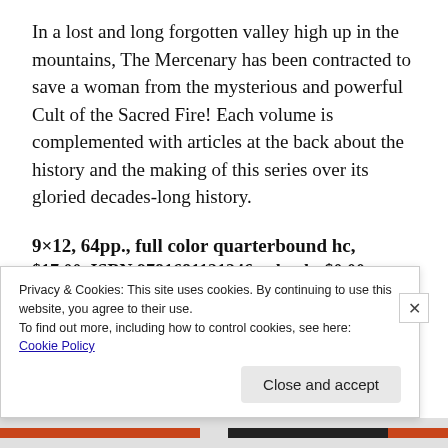In a lost and long forgotten valley high up in the mountains, The Mercenary has been contracted to save a woman from the mysterious and powerful Cult of the Sacred Fire! Each volume is complemented with articles at the back about the history and the making of this series over its gloried decades-long history.
9×12, 64pp., full color quarterbound hc,
$17.00  ISBN 9781681121246  e-book: $0.00
Privacy & Cookies: This site uses cookies. By continuing to use this website, you agree to their use.
To find out more, including how to control cookies, see here:
Cookie Policy
Close and accept